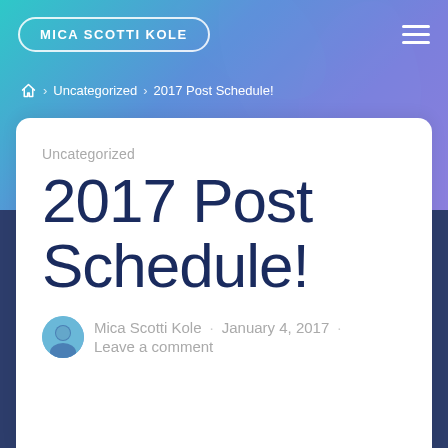MICA SCOTTI KOLE
Home > Uncategorized > 2017 Post Schedule!
Uncategorized
2017 Post Schedule!
Mica Scotti Kole · January 4, 2017 · Leave a comment